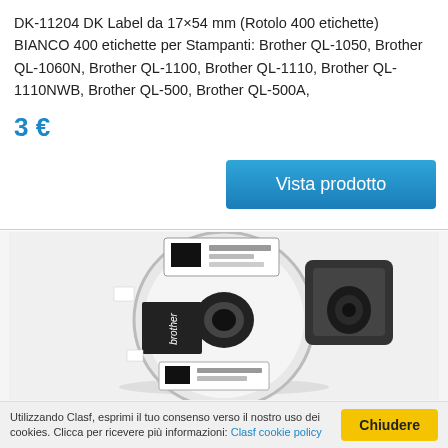DK-11204 DK Label da 17×54 mm (Rotolo 400 etichette) BIANCO 400 etichette per Stampanti: Brother QL-1050, Brother QL-1060N, Brother QL-1100, Brother QL-1110, Brother QL-1110NWB, Brother QL-500, Brother QL-500A,
3 €
Vista prodotto
[Figure (photo): A Brother label roll (DK series) showing a white roll of labels on a black plastic spool/cartridge, with 'brother' text visible on the label]
Utilizzando Clasf, esprimi il tuo consenso verso il nostro uso dei cookies. Clicca per ricevere più informazioni: Clasf cookie policy
Chiudere